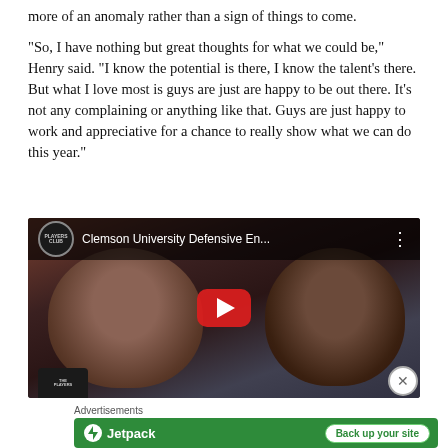more of an anomaly rather than a sign of things to come.
“So, I have nothing but great thoughts for what we could be,” Henry said. “I know the potential is there, I know the talent’s there. But what I love most is guys are just are happy to be out there. It’s not any complaining or anything like that. Guys are just happy to work and appreciative for a chance to really show what we can do this year.”
[Figure (screenshot): Embedded YouTube video thumbnail showing two young men smiling, with the video title 'Clemson University Defensive En...' and a red YouTube play button overlay. A Players Club logo appears in the top left.]
Advertisements
[Figure (screenshot): Jetpack advertisement banner on green background with text 'Jetpack' logo and 'Back up your site' button.]